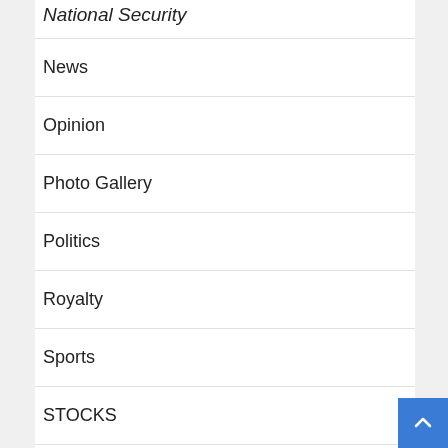National Security
News
Opinion
Photo Gallery
Politics
Royalty
Sports
STOCKS
Telecommunications